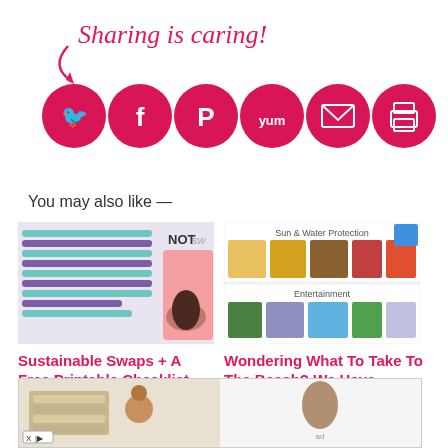[Figure (infographic): Sharing is caring! text with arrow and 7 social media icon circles (Twitter, Facebook, Pinterest, Yummly, Email, Print, Flipboard) in pink/red]
You may also like —
[Figure (photo): Thumbnail of sustainable swaps printable checklist with shoe]
Sustainable Swaps + A Free Printable Checklist
[Figure (screenshot): Thumbnail showing beach items: sun & water protection products and entertainment items]
Wondering What To Take To The Beach? We Have
[Figure (photo): Advertisement banner with towels/linens on left and clothing item on right, with X|> ad marker]